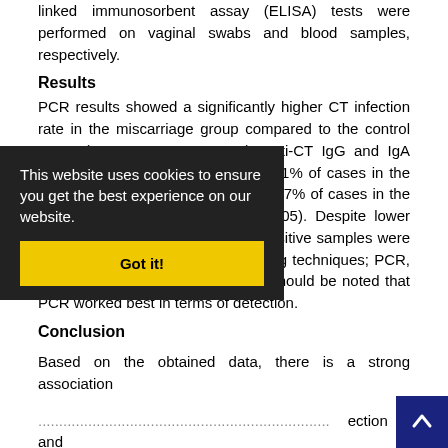linked immunosorbent assay (ELISA) tests were performed on vaginal swabs and blood samples, respectively.
Results
PCR results showed a significantly higher CT infection rate in the miscarriage group compared to the control group (11.3 vs. 0%, P=0.007). Anti-CT IgG and IgA antibodies were found in 4.2 and 2.1% of cases in the miscarriage group, and in 1.7 and 6.7% of cases in the control group, respectively (P > 0.05). Despite lower humoral responses in this study, positive samples were detected only by one of the following techniques; PCR, ELISA IgA and ELISA IgG. It also should be noted that PCR worked best in terms of detection.
Conclusion
Based on the obtained data, there is a strong association ... infection and ... molecular ... suggests that PCR could be used ... detection of C. trachomatis. Nevertheless, the value of serological tests in detecting potential past CT infection or upper genital infection not amenable to sampling